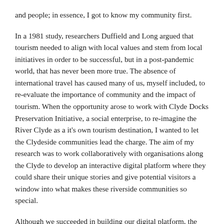and people; in essence, I got to know my community first.
In a 1981 study, researchers Duffield and Long argued that tourism needed to align with local values and stem from local initiatives in order to be successful, but in a post-pandemic world, that has never been more true. The absence of international travel has caused many of us, myself included, to re-evaluate the importance of community and the impact of tourism. When the opportunity arose to work with Clyde Docks Preservation Initiative, a social enterprise, to re-imagine the River Clyde as a it's own tourism destination, I wanted to let the Clydeside communities lead the charge. The aim of my research was to work collaboratively with organisations along the Clyde to develop an interactive digital platform where they could share their unique stories and give potential visitors a window into what makes these riverside communities so special.
Although we succeeded in building our digital platform, the most important outcome of our work was the recognition amongst the participating organisations that they all had more in common than just the coastline, and that through